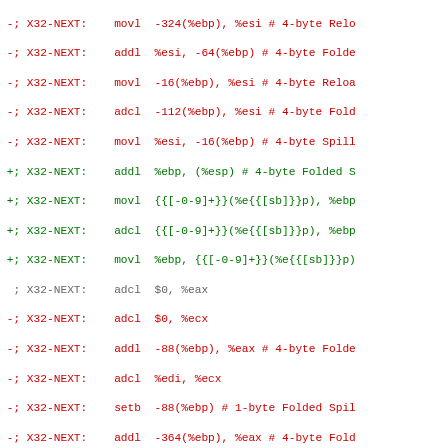Assembly code diff listing with X32-NEXT labels, showing removed lines (red, prefix -;), added lines (green, prefix +;), and neutral lines (prefix ;)